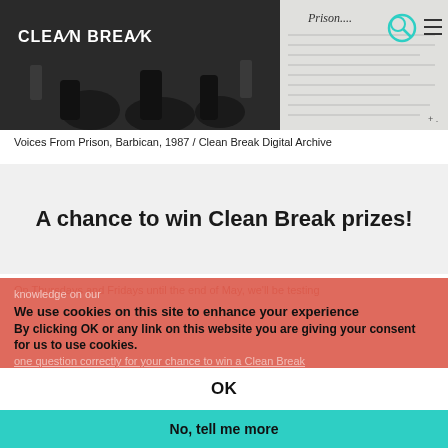[Figure (photo): Black and white photo of performers on stage with 'CLEAN BREAK' logo overlay in white text, left side of top banner]
[Figure (screenshot): Scanned document page with handwritten/typed text reading 'Prison....' at the top, with search and hamburger menu icons overlaid]
Voices From Prison, Barbican, 1987 / Clean Break Digital Archive
A chance to win Clean Break prizes!
On Thursdays and Fridays until the end of May, we'll be testing knowledge on our Instagram Stories...
We use cookies on this site to enhance your experience
By clicking OK or any link on this website you are giving your consent for us to use cookies.
one question correctly for your chance to win a Clean Break
OK
No, tell me more